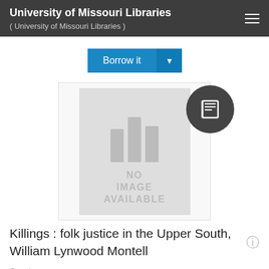University of Missouri Libraries ( University of Missouri Libraries )
Borrow it
[Figure (illustration): No image available placeholder with columns icon and a dark book icon overlay circle]
Killings : folk justice in the Upper South, William Lynwood Montell
Creator
Montell, William Lynwood, 1931-